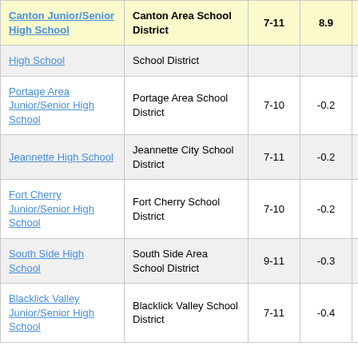| School | District | Grades | Score |  |
| --- | --- | --- | --- | --- |
| Canton Junior/Senior High School | Canton Area School District | 7-11 | 8.9 | 2 |
| High School | School District |  |  |  |
| Portage Area Junior/Senior High School | Portage Area School District | 7-10 | -0.2 |  |
| Jeannette High School | Jeannette City School District | 7-11 | -0.2 |  |
| Fort Cherry Junior/Senior High School | Fort Cherry School District | 7-10 | -0.2 |  |
| South Side High School | South Side Area School District | 9-11 | -0.3 |  |
| Blacklick Valley Junior/Senior High School | Blacklick Valley School District | 7-11 | -0.4 |  |